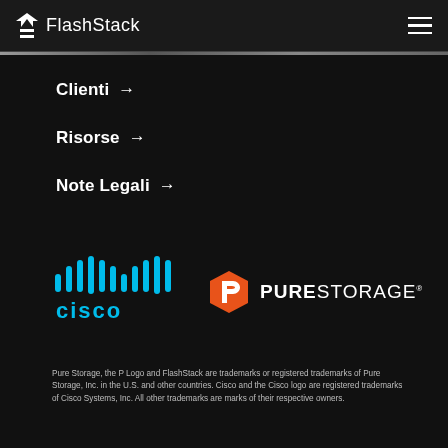FlashStack
Clienti →
Risorse →
Note Legali →
[Figure (logo): Cisco logo in blue with dot-bar pattern above text]
[Figure (logo): Pure Storage logo with orange hexagonal P icon and white PURE STORAGE text]
Pure Storage, the P Logo and FlashStack are trademarks or registered trademarks of Pure Storage, Inc. in the U.S. and other countries. Cisco and the Cisco logo are registered trademarks of Cisco Systems, Inc. All other trademarks are marks of their respective owners.